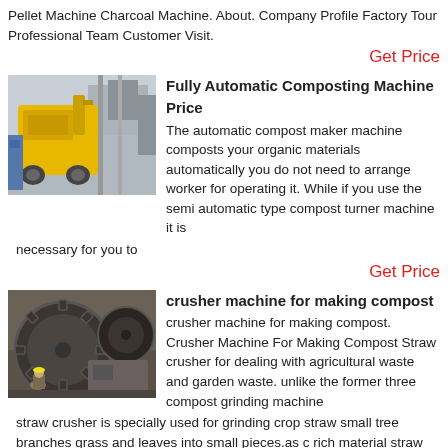Pellet Machine Charcoal Machine. About. Company Profile Factory Tour Professional Team Customer Visit.
Get Price
[Figure (photo): Yellow industrial machine in a factory setting]
Fully Automatic Composting Machine Price
The automatic compost maker machine composts your organic materials automatically you do not need to arrange worker for operating it. While if you use the semi automatic type compost turner machine it is necessary for you to
Get Price
[Figure (photo): Large industrial crusher machine with gears and mechanical parts]
crusher machine for making compost
crusher machine for making compost. Crusher Machine For Making Compost Straw crusher for dealing with agricultural waste and garden waste. unlike the former three compost grinding machine straw crusher is specially used for grinding crop straw small tree branches grass and leaves into small pieces.as c rich material straw is necessary in composting process which
Get Price